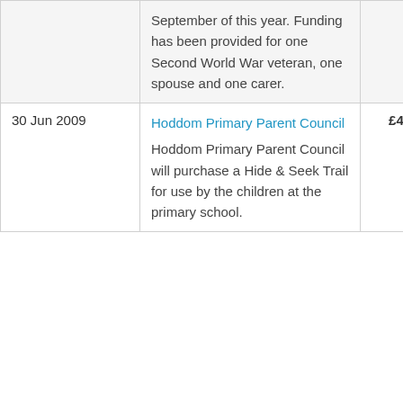| Date | Organisation / Description | Amount | Funder |
| --- | --- | --- | --- |
|  | September of this year. Funding has been provided for one Second World War veteran, one spouse and one carer. |  |  |
| 30 Jun 2009 | Hoddom Primary Parent Council
Hoddom Primary Parent Council will purchase a Hide & Seek Trail for use by the children at the primary school. | £4,860 | Big Lotte |